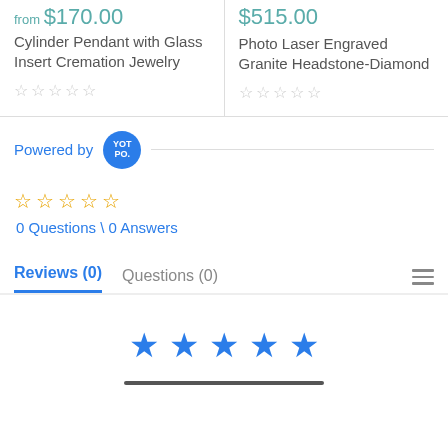from $170.00
Cylinder Pendant with Glass Insert Cremation Jewelry
☆☆☆☆☆
$515.00
Photo Laser Engraved Granite Headstone-Diamond
☆☆☆☆☆
Powered by YOTPO
☆☆☆☆☆
0 Questions \ 0 Answers
Reviews (0)   Questions (0)
[Figure (other): Five filled blue stars rating display]